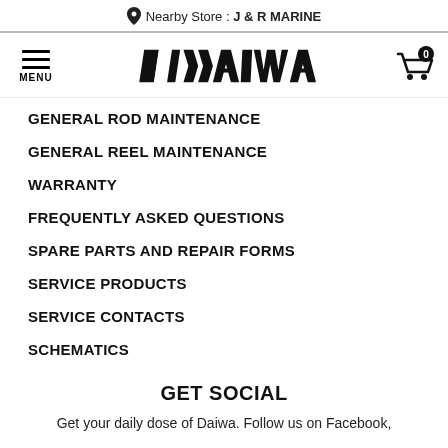Nearby Store : J & R MARINE
[Figure (logo): Daiwa brand logo with hamburger menu icon and shopping cart with badge 0]
GENERAL ROD MAINTENANCE
GENERAL REEL MAINTENANCE
WARRANTY
FREQUENTLY ASKED QUESTIONS
SPARE PARTS AND REPAIR FORMS
SERVICE PRODUCTS
SERVICE CONTACTS
SCHEMATICS
GET SOCIAL
Get your daily dose of Daiwa. Follow us on Facebook,